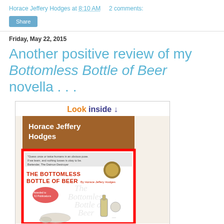Horace Jeffery Hodges at 8:10 AM   2 comments:
Share
Friday, May 22, 2015
Another positive review of my Bottomless Bottle of Beer novella . . .
[Figure (photo): Book cover for 'The Bottomless Bottle of Beer' by Horace Jeffery Hodges, with 'Look inside' overlay banner at top. Cover shows brown header with author name, red-bordered illustrated cover with title text and sketched imagery including a bottle and animals.]